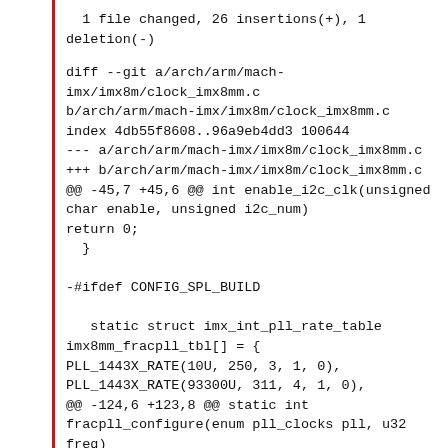1 file changed, 26 insertions(+), 1 deletion(-)
diff --git a/arch/arm/mach-imx/imx8m/clock_imx8mm.c b/arch/arm/mach-imx/imx8m/clock_imx8mm.c
index 4db55f8608..96a9eb4dd3 100644
--- a/arch/arm/mach-imx/imx8m/clock_imx8mm.c
+++ b/arch/arm/mach-imx/imx8m/clock_imx8mm.c
@@ -45,7 +45,6 @@ int enable_i2c_clk(unsigned char enable, unsigned i2c_num)
return 0;
  }

-#ifdef CONFIG_SPL_BUILD

   static struct imx_int_pll_rate_table imx8mm_fracpll_tbl[] = {
PLL_1443X_RATE(10U, 250, 3, 1, 0),
PLL_1443X_RATE(93300U, 311, 4, 1, 0),
@@ -124,6 +123,8 @@ static int fracpll_configure(enum pll_clocks pll, u32 freq)